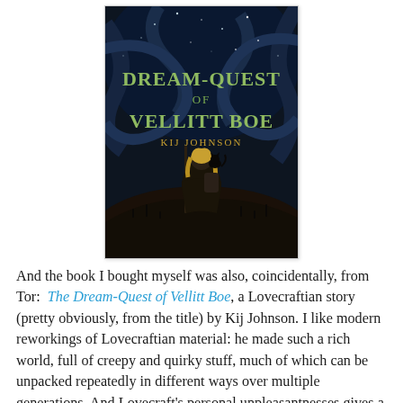[Figure (illustration): Book cover of 'The Dream-Quest of Vellitt Boe' by Kij Johnson. Dark fantasy illustration showing a figure with a staff and a cat on their shoulder, standing on a rocky outcrop, facing a swirling dark sky with stars. Title text in pale green/gold at top, author name in gold below title.]
And the book I bought myself was also, coincidentally, from Tor:  The Dream-Quest of Vellitt Boe, a Lovecraftian story (pretty obviously, from the title) by Kij Johnson. I like modern reworkings of Lovecraftian material: he made such a rich world, full of creepy and quirky stuff, much of which can be unpacked repeatedly in different ways over multiple generations. And Lovecraft's personal unpleasantnesses gives a reason for successive writers to want to mine what good they can find in those works, too. I've been looking for